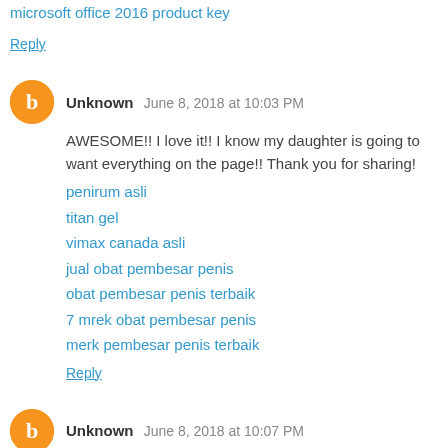microsoft office 2016 product key
Reply
Unknown June 8, 2018 at 10:03 PM
AWESOME!! I love it!! I know my daughter is going to want everything on the page!! Thank you for sharing!
penirum asli
titan gel
vimax canada asli
jual obat pembesar penis
obat pembesar penis terbaik
7 mrek obat pembesar penis
merk pembesar penis terbaik
Reply
Unknown June 8, 2018 at 10:07 PM
titan gel
vimax canada asli
Noesize xl pembesar alat vital